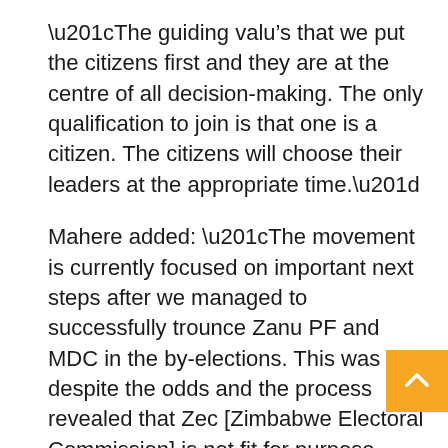“The guiding values that we put the citizens first and they are at the centre of all decision-making. The only qualification to join is that one is a citizen. The citizens will choose their leaders at the appropriate time.”
Mahere added: “The movement is currently focused on important next steps after we managed to successfully trounce Zanu PF and MDC in the by-elections. This was despite the odds and the process revealed that Zec [Zimbabwe Electoral Commission] is not fit for purpose.
“We are working on holding them to account through litigation and political pressure. We are focused on building the machine to ensure we six million votes in the presidential election, a two-thirds majority in Parliament and clean sweep in